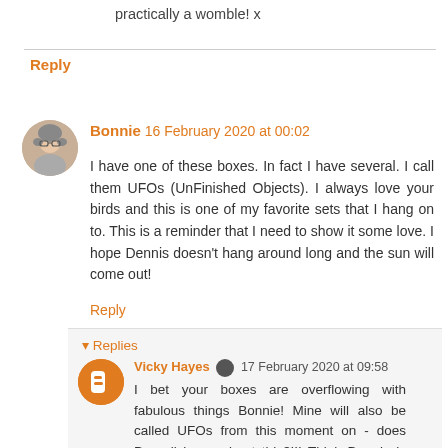practically a womble! x
Reply
Bonnie 16 February 2020 at 00:02
I have one of these boxes. In fact I have several. I call them UFOs (UnFinished Objects). I always love your birds and this is one of my favorite sets that I hang on to. This is a reminder that I need to show it some love. I hope Dennis doesn't hang around long and the sun will come out!
Reply
▼ Replies
Vicky Hayes  17 February 2020 at 09:58
I bet your boxes are overflowing with fabulous things Bonnie! Mine will also be called UFOs from this moment on - does Darnell know about this?!!! Think Dennis is on the way out. Missing him already!